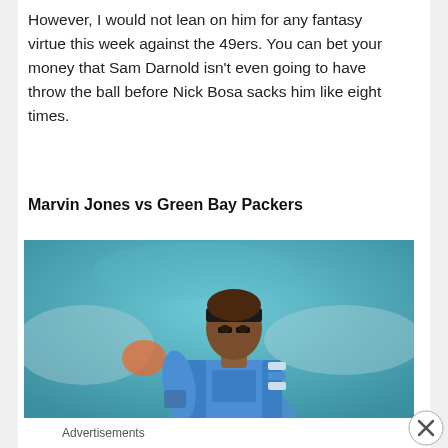However, I would not lean on him for any fantasy virtue this week against the 49ers. You can bet your money that Sam Darnold isn't even going to have throw the ball before Nick Bosa sacks him like eight times.
Marvin Jones vs Green Bay Packers
[Figure (photo): A football player wearing a blue Detroit Lions jersey, black headband and eye black, standing on the field with a teal/aqua stadium background and blurred crowd.]
Advertisements